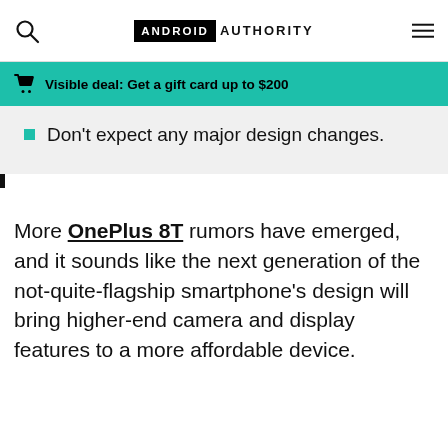ANDROID AUTHORITY
Visible deal: Get a gift card up to $200
Don't expect any major design changes.
More OnePlus 8T rumors have emerged, and it sounds like the next generation of the not-quite-flagship smartphone's design will bring higher-end camera and display features to a more affordable device.